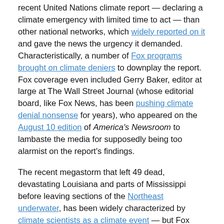recent United Nations climate report — declaring a climate emergency with limited time to act — than other national networks, which widely reported on it and gave the news the urgency it demanded. Characteristically, a number of Fox programs brought on climate deniers to downplay the report. Fox coverage even included Gerry Baker, editor at large at The Wall Street Journal (whose editorial board, like Fox News, has been pushing climate denial nonsense for years), who appeared on the August 10 edition of America's Newsroom to lambaste the media for supposedly being too alarmist on the report's findings.
The recent megastorm that left 49 dead, devastating Louisiana and parts of Mississippi before leaving sections of the Northeast underwater, has been widely characterized by climate scientists as a climate event — but Fox News has not covered it that way. In fact, one of its news programs, America's Newsroom, even cut away from a news conference on the aftermath of Hurricane Ida in